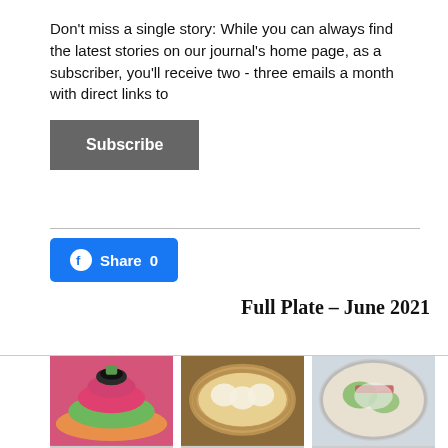Don't miss a single story: While you can always find the latest stories on our journal's home page, as a subscriber, you'll receive two - three emails a month with direct links to
Subscribe
Share 0
Full Plate – June 2021
[Figure (photo): Three food photos side by side: left shows a colorful appetizer with pink pickled radish and black caviar on a tostada; center shows scallops in a golden oval dish with herbs and chili flakes; right shows a colorful salad in a bowl with greens and red vegetables.]